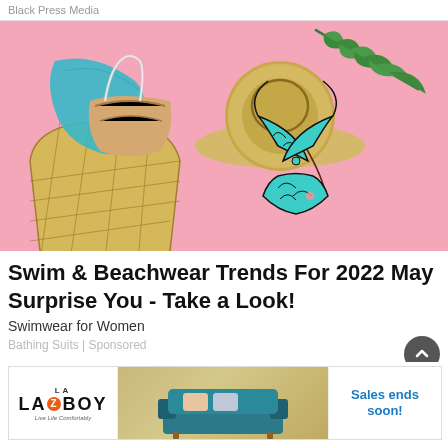Black Press Media
[Figure (photo): Flatlay on pink background showing a straw sun hat, teal/green bikini with tropical leaf print, a mesh straw beach bag, strappy sandals, a teal silk scarf, and a tropical palm leaf.]
Swim & Beachwear Trends For 2022 May Surprise You - Take a Look!
Swimwear for Women
Bathing Suits | Sponsored
[Figure (photo): La-Z-Boy advertisement banner: logo on left, sofa image in middle, 'Sales ends soon!' text in blue on right.]